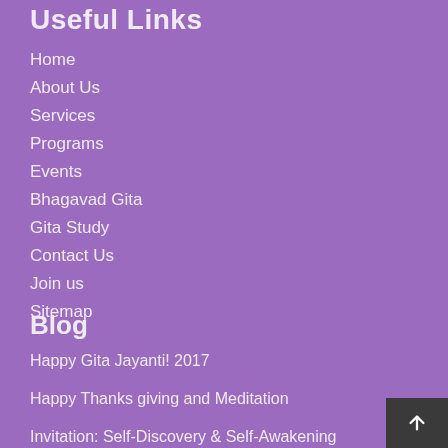Useful Links
Home
About Us
Services
Programs
Events
Bhagavad Gita
Gita Study
Contact Us
Join us
Sitemap
Blog
Happy Gita Jayanti! 2017
Happy Thanks giving and Meditation
Invitation: Self-Discovery & Self-Awakening